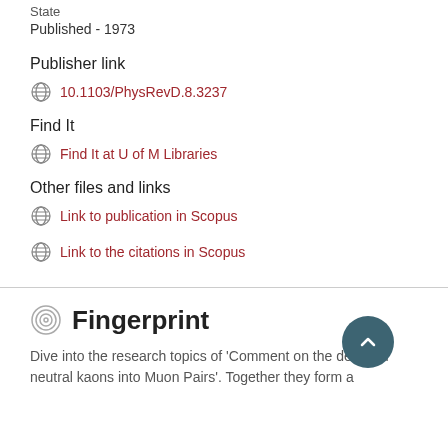State
Published - 1973
Publisher link
10.1103/PhysRevD.8.3237
Find It
Find It at U of M Libraries
Other files and links
Link to publication in Scopus
Link to the citations in Scopus
Fingerprint
Dive into the research topics of 'Comment on the decay of neutral kaons into Muon Pairs'. Together they form a